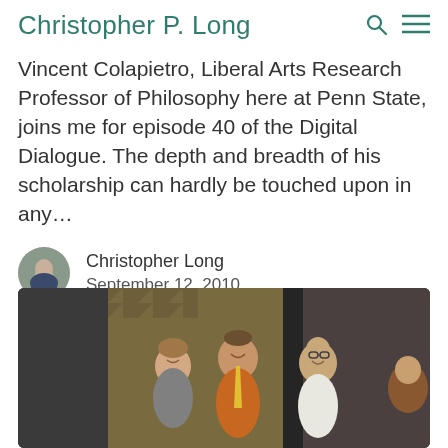Christopher P. Long
Vincent Colapietro, Liberal Arts Research Professor of Philosophy here at Penn State, joins me for episode 40 of the Digital Dialogue. The depth and breadth of his scholarship can hardly be touched upon in any…
Christopher Long
September 12, 2010
[Figure (photo): Three people smiling in what appears to be a recording studio or soundproofed room. A woman on the left with brown hair, a man in the center wearing an orange shirt and yellow tie, and an older man on the right wearing glasses and a white shirt. There is a partially visible fourth person on the far right.]